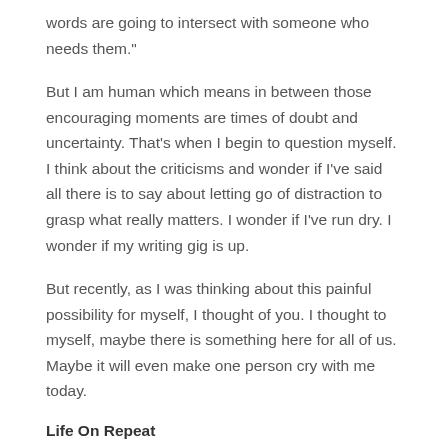words are going to intersect with someone who needs them."
But I am human which means in between those encouraging moments are times of doubt and uncertainty. That's when I begin to question myself. I think about the criticisms and wonder if I've said all there is to say about letting go of distraction to grasp what really matters. I wonder if I've run dry. I wonder if my writing gig is up.
But recently, as I was thinking about this painful possibility for myself, I thought of you. I thought to myself, maybe there is something here for all of us. Maybe it will even make one person cry with me today.
Life On Repeat